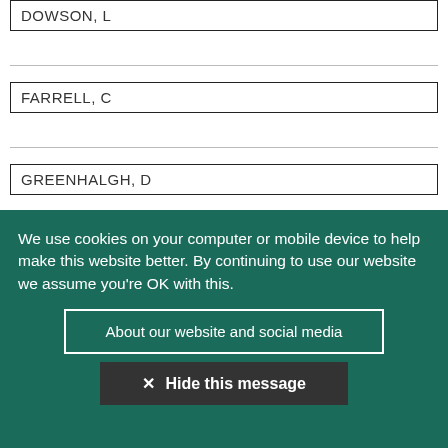| DOWSON, L |
|  |
|  |
| FARRELL, C |
|  |
|  |
| GREENHALGH, D |
We use cookies on your computer or mobile device to help make this website better. By continuing to use our website we assume you're OK with this.
About our website and social media
✕ Hide this message